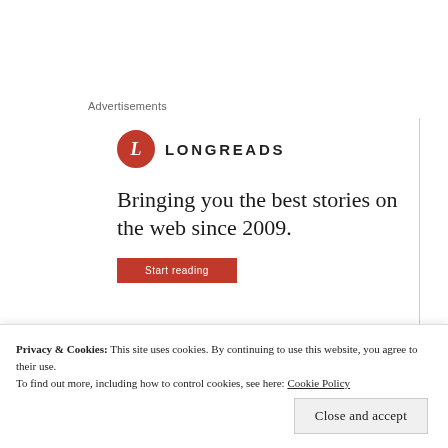Advertisements
[Figure (logo): Longreads logo: red circle with italic L, followed by LONGREADS in bold caps]
Bringing you the best stories on the web since 2009.
Start reading
Privacy & Cookies: This site uses cookies. By continuing to use this website, you agree to their use. To find out more, including how to control cookies, see here: Cookie Policy
Close and accept